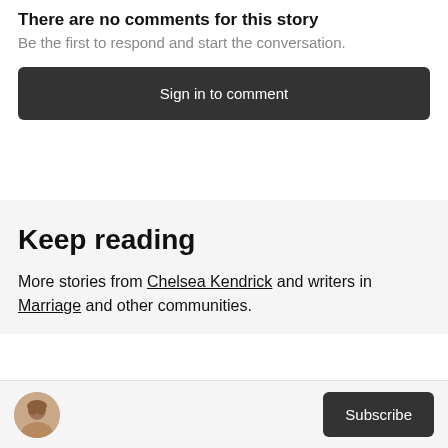There are no comments for this story
Be the first to respond and start the conversation.
Sign in to comment
Keep reading
More stories from Chelsea Kendrick and writers in Marriage and other communities.
Subscribe